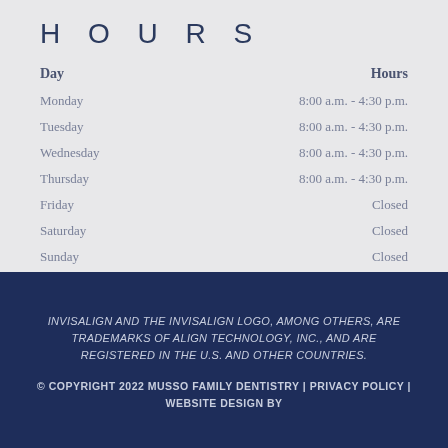HOURS
| Day | Hours |
| --- | --- |
| Monday | 8:00 a.m. - 4:30 p.m. |
| Tuesday | 8:00 a.m. - 4:30 p.m. |
| Wednesday | 8:00 a.m. - 4:30 p.m. |
| Thursday | 8:00 a.m. - 4:30 p.m. |
| Friday | Closed |
| Saturday | Closed |
| Sunday | Closed |
INVISALIGN AND THE INVISALIGN LOGO, AMONG OTHERS, ARE TRADEMARKS OF ALIGN TECHNOLOGY, INC., AND ARE REGISTERED IN THE U.S. AND OTHER COUNTRIES.
© COPYRIGHT 2022 MUSSO FAMILY DENTISTRY | PRIVACY POLICY | WEBSITE DESIGN BY